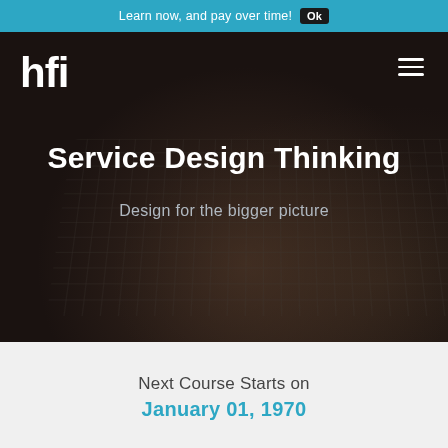Learn now, and pay over time! Ok
[Figure (screenshot): HFI website hero section showing a dark background with a person typing on a laptop keyboard, with the hfi logo top-left and a hamburger menu icon top-right]
Service Design Thinking
Design for the bigger picture
Next Course Starts on
January 01, 1970